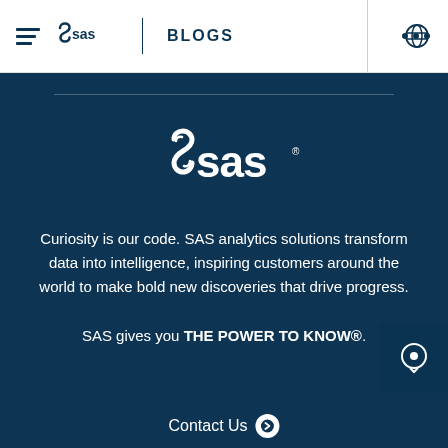SAS BLOGS
[Figure (logo): SAS logo (large, white) on dark blue background]
Curiosity is our code. SAS analytics solutions transform data into intelligence, inspiring customers around the world to make bold new discoveries that drive progress.
SAS gives you THE POWER TO KNOW®.
Contact Us